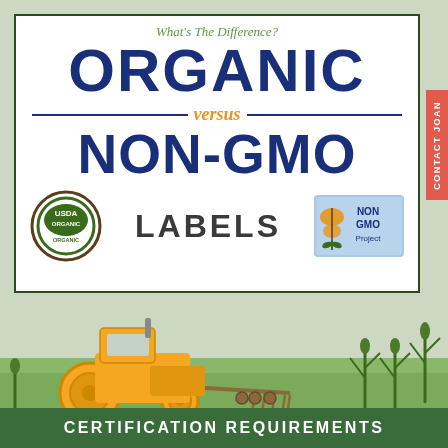What's The Difference?
ORGANIC versus NON-GMO LABELS
[Figure (infographic): Infographic cover page showing 'ORGANIC versus NON-GMO' with USDA Organic badge and Non-GMO Project badge, tractor illustration in field, with 'CERTIFICATION REQUIREMENTS' banner at bottom. Side tab reads 'CONTACT JOAN'.]
CERTIFICATION REQUIREMENTS